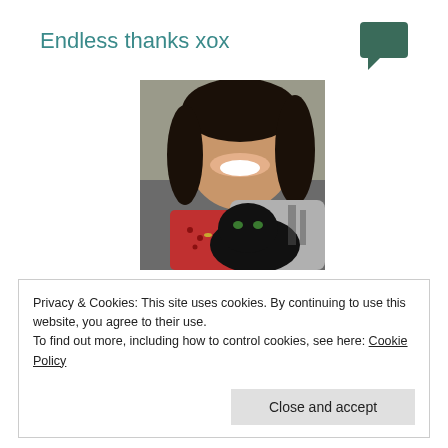Endless thanks xox
[Figure (other): Green chat/speech bubble icon in the top right corner]
[Figure (photo): A smiling woman with dark hair wearing a red top, cuddling a black cat wrapped in a grey blanket with black and white pattern]
Privacy & Cookies: This site uses cookies. By continuing to use this website, you agree to their use.
To find out more, including how to control cookies, see here: Cookie Policy
Close and accept